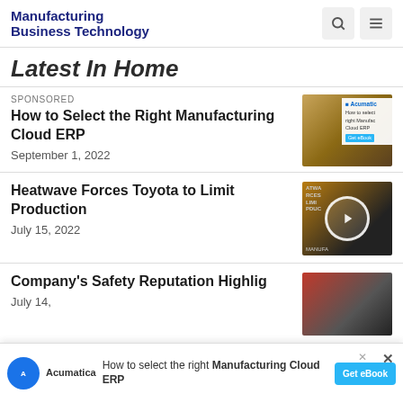Manufacturing Business Technology
Latest In Home
SPONSORED
How to Select the Right Manufacturing Cloud ERP
September 1, 2022
[Figure (other): Acumatica sponsored ebook thumbnail - How to select right Manufacturing Cloud ERP with Get eBook button]
Heatwave Forces Toyota to Limit Production
July 15, 2022
[Figure (other): Video thumbnail with play button overlay - Heatwave Forces Toyota to Limit Production]
Company's Safety Reputation Highlights
July 14,
[Figure (other): Article thumbnail with orange/red tones]
[Figure (other): Acumatica advertisement banner - How to select the right Manufacturing Cloud ERP - Get eBook]